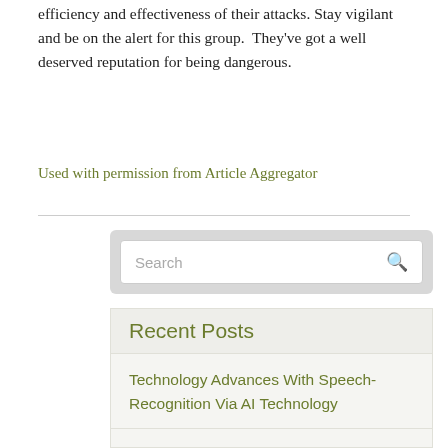efficiency and effectiveness of their attacks. Stay vigilant and be on the alert for this group.  They've got a well deserved reputation for being dangerous.
Used with permission from Article Aggregator
Recent Posts
Technology Advances With Speech-Recognition Via AI Technology
Windows 11 Apps Are Being